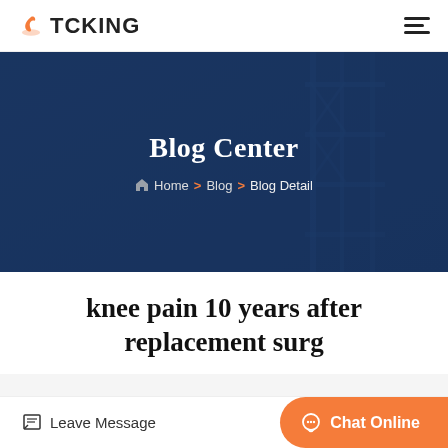TCKING
[Figure (screenshot): Dark navy blue hero banner with industrial/construction scaffolding structure in the background, overlaid with semi-transparent dark blue color]
Blog Center
Home > Blog > Blog Detail
knee pain 10 years after replacement surg
Leave Message
Chat Online